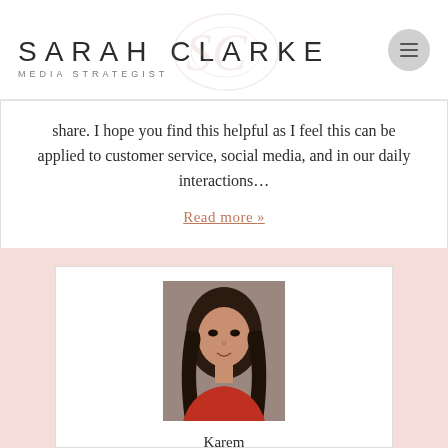SARAH CLARKE MEDIA STRATEGIST
share. I hope you find this helpful as I feel this can be applied to customer service, social media, and in our daily interactions…
Read more »
[Figure (photo): Portrait photo of Karem Ortiz, a woman with long dark hair wearing a red top, against a neutral background]
Karem Ortiz
GUEST BLOG POST
» PRICING